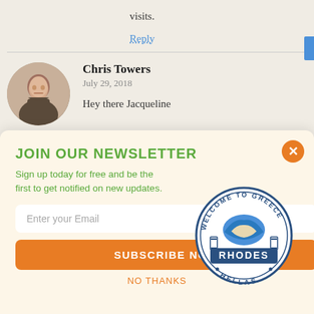visits.
Reply
Chris Towers
July 29, 2018
Hey there Jacqueline

2006 was a long time ago, so I think you are ready to take another trip to the Mediterranean 🙂
Mykonos is also very beautiful, I have been there
[Figure (infographic): Newsletter signup popup with 'Welcome to Greece - Rhodes - Hellas' stamp logo, email input, subscribe now button, and no thanks link]
Shares